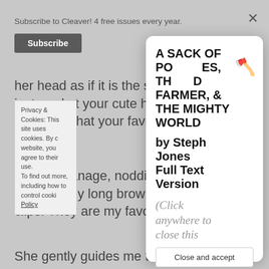Subscribe to Cleaver! 4 free issues every year.
Subscribe
her head as if it is the stick tha just mad at your cute hair clips purple! Is that your favorite co
“Yes,” I manage, nodding. That adorned my long brown hair w clips. They are my favorite, wit
Privacy & Cookies: This site uses cookies. By c website, you agree to their use. To find out more, including how to control cooki Policy
She gently guides me toward the ca
[Figure (screenshot): Modal popup showing book title 'A SACK OF POTATOES, THE DEAD FARMER, & THE MIGHTY WORLD by Steph Jones Full Text Version' with a cleaver emoji, and italic text '(Click anywhere to close this' with a 'Close and accept' button]
A SACK OF POTATOES, THE DEAD FARMER, & THE MIGHTY WORLD
by Steph Jones Full Text Version
(Click anywhere to close this
Close and accept